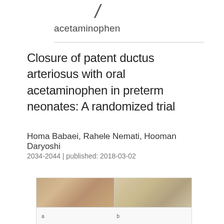acetaminophen
Closure of patent ductus arteriosus with oral acetaminophen in preterm neonates: A randomized trial
Homa Babaei, Rahele Nemati, Hooman Daryoshi
2034-2044 | published: 2018-03-02
[Figure (photo): Four panel photo grid showing neonatal foot/ankle images labeled a and b, with two additional photos below]